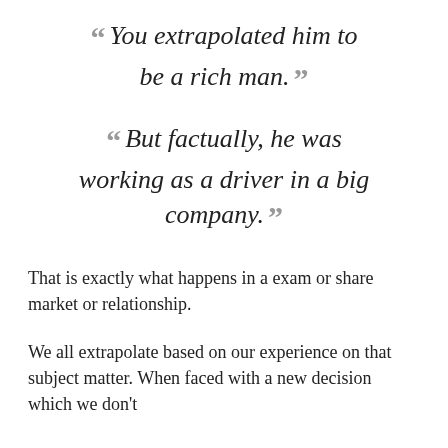“ You extrapolated him to be a rich man. ”
“ But factually, he was working as a driver in a big company. ”
That is exactly what happens in a exam or share market or relationship.
We all extrapolate based on our experience on that subject matter. When faced with a new decision which we don’t